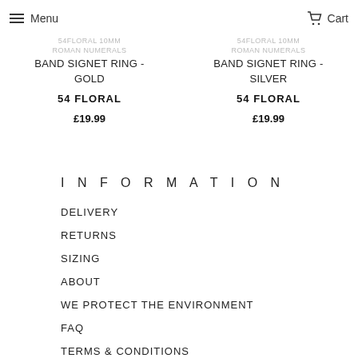Menu  Cart
54FLORAL 10mm ROMAN NUMERALS BAND SIGNET RING - GOLD
54FLORAL 10mm ROMAN NUMERALS BAND SIGNET RING - SILVER
54 FLORAL
54 FLORAL
£19.99
£19.99
INFORMATION
DELIVERY
RETURNS
SIZING
ABOUT
WE PROTECT THE ENVIRONMENT
FAQ
TERMS & CONDITIONS